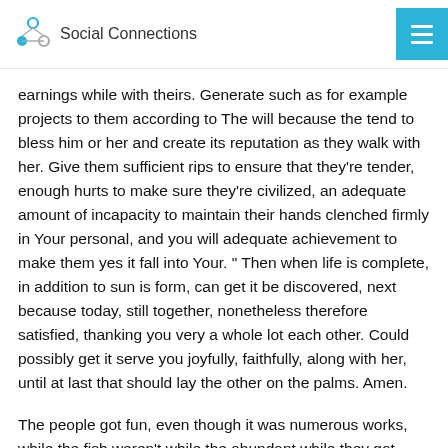Social Connections
earnings while with theirs. Generate such as for example projects to them according to The will because the tend to bless him or her and create its reputation as they walk with her. Give them sufficient rips to ensure that they're tender, enough hurts to make sure they're civilized, an adequate amount of incapacity to maintain their hands clenched firmly in Your personal, and you will adequate achievement to make them yes it fall into Your. “ Then when life is complete, in addition to sun is form, can get it be discovered, next because today, still together, nonetheless therefore satisfied, thanking you very a whole lot each other. Could possibly get it serve you joyfully, faithfully, along with her, until at last that should lay the other on the palms. Amen.
The people got fun, even though it was numerous works, while the fish weren’t while the abundant while they got wished. It ended up being the night time on Friday, so that they could go right back away to get more another time, after the rain and you may winds passed away off. They didn’t allow back in urban area for